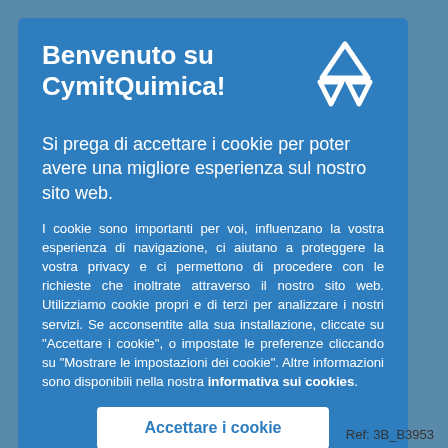Benvenuto su CymitQuimica!
Si prega di accettare i cookie per poter avere una migliore esperienza sul nostro sito web.
I cookie sono importanti per voi, influenzano la vostra esperienza di navigazione, ci aiutano a proteggere la vostra privacy e ci permettono di procedere con le richieste che inoltrate attraverso il nostro sito web. Utilizziamo cookie propri e di terzi per analizzare i nostri servizi. Se acconsentite alla sua installazione, cliccate su "Accettare i cookie", o impostate le preferenze cliccando su "Mostrare le impostazioni dei cookie". Altre informazioni sono disponibili nella nostra informativa sui cookies.
Accettare i cookie
Ref: 3B_B3953